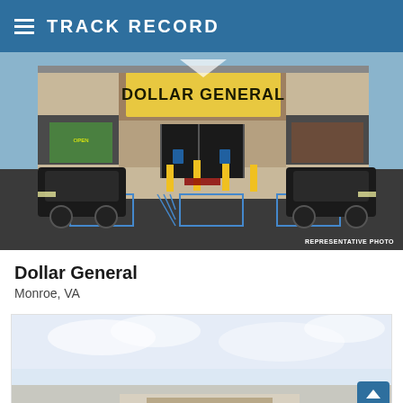TRACK RECORD
[Figure (photo): Dollar General store exterior with yellow bollards, handicap parking spaces, and two black SUVs in the parking lot. Representative photo.]
Dollar General
Monroe, VA
[Figure (photo): Partial view of another store exterior, partially visible at bottom of page.]